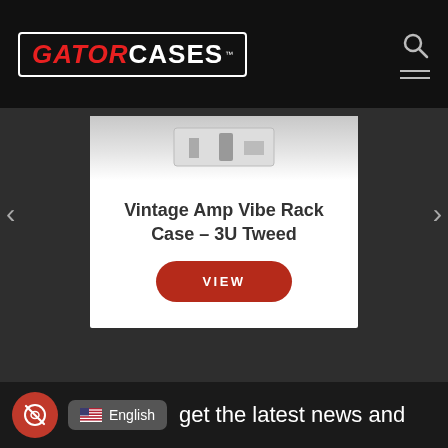[Figure (logo): Gator Cases logo — GATOR in red italic bold, CASES in white bold, inside white border rectangle, on black background]
[Figure (screenshot): Gator Cases website screenshot showing product card for 'Vintage Amp Vibe Rack Case – 3U Tweed' with a VIEW button, carousel arrows, and bottom language/privacy bar]
Vintage Amp Vibe Rack Case – 3U Tweed
VIEW
English
get the latest news and